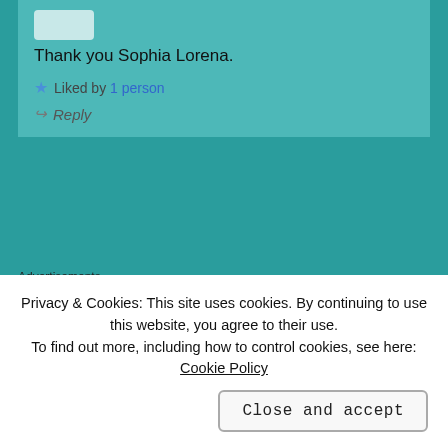Thank you Sophia Lorena.
★ Liked by 1 person
↪ Reply
Advertisements
[Figure (other): Advertisement banner with price $20.99]
CHRISTINA KYRANIS says:
Privacy & Cookies: This site uses cookies. By continuing to use this website, you agree to their use.
To find out more, including how to control cookies, see here: Cookie Policy
Close and accept